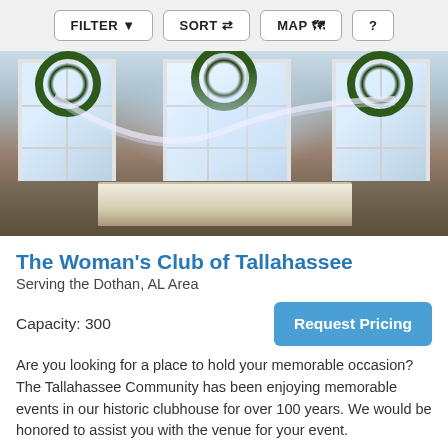FILTER  SORT  MAP  ?
[Figure (photo): Interior of The Woman's Club of Tallahassee decorated for a wedding event, showing three large windows with white draping and wreaths, and a banquet table in the foreground.]
The Woman's Club of Tallahassee
Serving the Dothan, AL Area
Capacity: 300
Request Pricing
Are you looking for a place to hold your memorable occasion? The Tallahassee Community has been enjoying memorable events in our historic clubhouse for over 100 years. We would be honored to assist you with the venue for your event.
Banquet/Event Hall (+1)